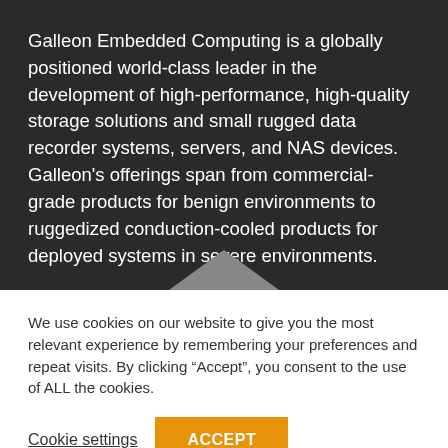Galleon Embedded Computing is a globally positioned world-class leader in the development of high-performance, high-quality storage solutions and small rugged data recorder systems, servers, and NAS devices. Galleon's offerings span from commercial-grade products for benign environments to ruggedized conduction-cooled products for deployed systems in severe environments.
We use cookies on our website to give you the most relevant experience by remembering your preferences and repeat visits. By clicking “Accept”, you consent to the use of ALL the cookies.
Cookie settings   ACCEPT